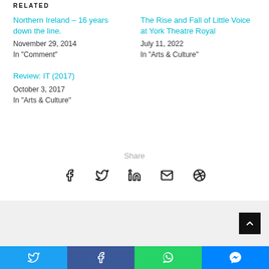Northern Ireland – 16 years down the line.
November 29, 2014
In "Comment"
The Rise and Fall of Little Voice at York Theatre Royal
July 11, 2022
In "Arts & Culture"
Review: IT (2017)
October 3, 2017
In "Arts & Culture"
Share
[Figure (infographic): Social share icons: Facebook, Twitter, LinkedIn, Email, WhatsApp]
[Figure (infographic): Bottom social sharing bar with Twitter, Facebook, WhatsApp, Messenger buttons]